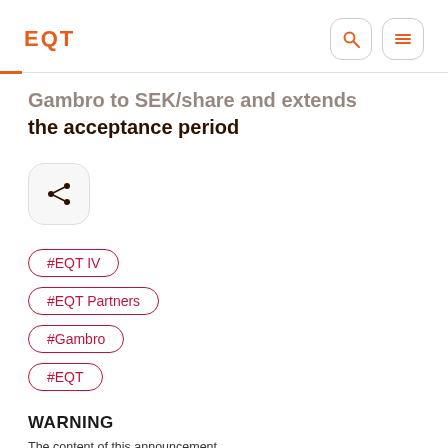EQT
Gambro to SEK/share and extends the acceptance period
[Figure (other): Share button icon inside a rounded square]
#EQT IV
#EQT Partners
#Gambro
#EQT
WARNING
The content of this announcement...